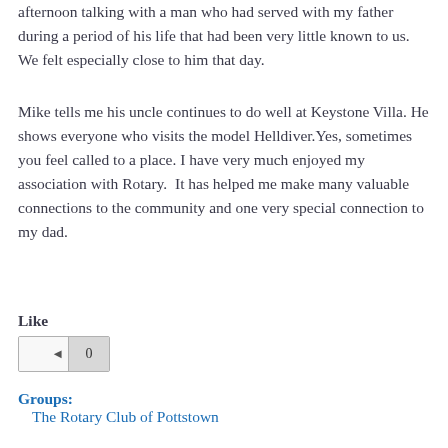afternoon talking with a man who had served with my father during a period of his life that had been very little known to us. We felt especially close to him that day.
Mike tells me his uncle continues to do well at Keystone Villa. He shows everyone who visits the model Helldiver. Yes, sometimes you feel called to a place. I have very much enjoyed my association with Rotary. It has helped me make many valuable connections to the community and one very special connection to my dad.
Like
[Figure (other): A like button widget showing count 0]
Groups: The Rotary Club of Pottstown